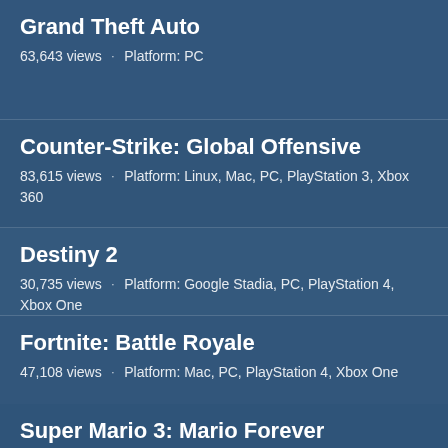Grand Theft Auto
63,643 views · Platform: PC
Counter-Strike: Global Offensive
83,615 views · Platform: Linux, Mac, PC, PlayStation 3, Xbox 360
Destiny 2
30,735 views · Platform: Google Stadia, PC, PlayStation 4, Xbox One
Fortnite: Battle Royale
47,108 views · Platform: Mac, PC, PlayStation 4, Xbox One
Super Mario 3: Mario Forever
45,975 views · Platform: PC